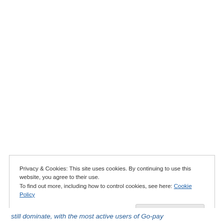Privacy & Cookies: This site uses cookies. By continuing to use this website, you agree to their use.
To find out more, including how to control cookies, see here: Cookie Policy
Close and accept
still dominate, with the most active users of Go-pay